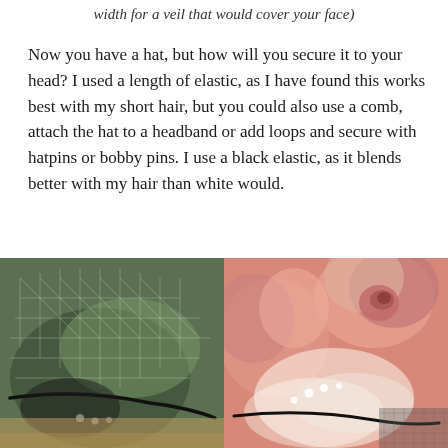width for a veil that would cover your face)
Now you have a hat, but how will you secure it to your head? I used a length of elastic, as I have found this works best with my short hair, but you could also use a comb, attach the hat to a headband or add loops and secure with hatpins or bobby pins. I use a black elastic, as it blends better with my hair than white would.
[Figure (photo): Close-up photo of the underside of a hat showing black elastic attached to netting/mesh fabric, with small pearl beads visible]
[Figure (photo): Close-up photo of pink/peach fabric roses and white organza flowers with pearl beads and black elastic cord visible underneath]